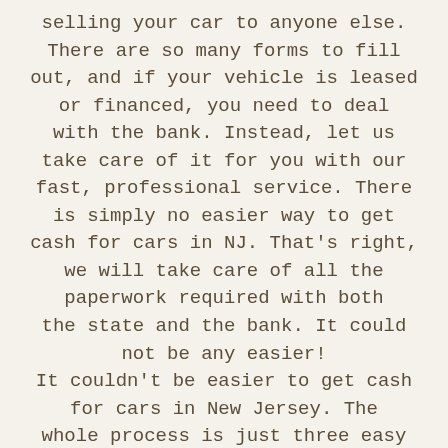selling your car to anyone else. There are so many forms to fill out, and if your vehicle is leased or financed, you need to deal with the bank. Instead, let us take care of it for you with our fast, professional service. There is simply no easier way to get cash for cars in NJ. That's right, we will take care of all the paperwork required with both the state and the bank. It could not be any easier! It couldn't be easier to get cash for cars in New Jersey. The whole process is just three easy steps. If you are worried we will not take your car, you need to call us right away. We buy cars in any condition, any make and any model, it just does not matter. The best part is that the service...